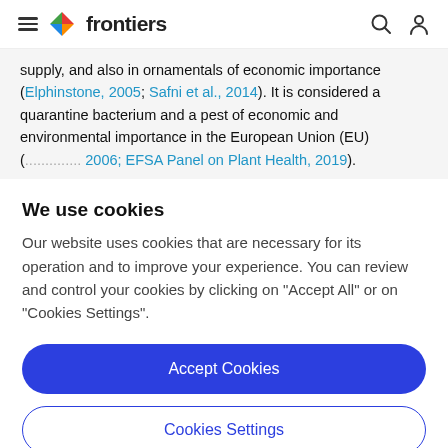frontiers
supply, and also in ornamentals of economic importance (Elphinstone, 2005; Safni et al., 2014). It is considered a quarantine bacterium and a pest of economic and environmental importance in the European Union (EU) (... 2006; EFSA Panel on Plant Health, 2019).
We use cookies
Our website uses cookies that are necessary for its operation and to improve your experience. You can review and control your cookies by clicking on "Accept All" or on "Cookies Settings".
Accept Cookies
Cookies Settings